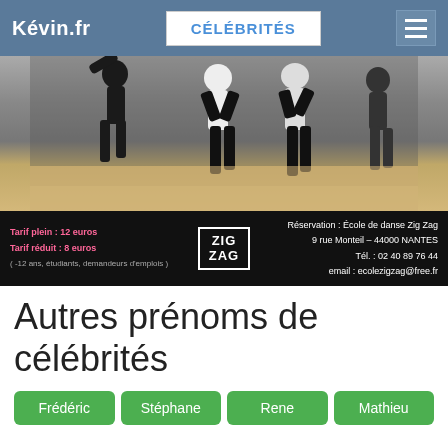Kévin.fr | CÉLÉBRITÉS
[Figure (photo): Three dancers in dynamic poses against a light background, wearing white tops and black pants. Below the photo is a black info bar with pricing and contact details for Zig Zag dance school.]
Autres prénoms de célébrités
Frédéric
Stéphane
Rene
Mathieu